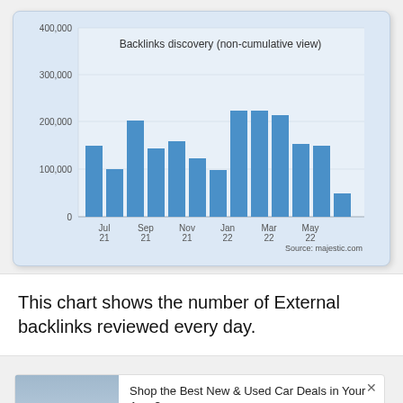[Figure (bar-chart): Backlinks discovery (non-cumulative view)]
This chart shows the number of External backlinks reviewed every day.
[Figure (photo): Advertisement: Shop the Best New & Used Car Deals in Your Area? Car Deals Near You. PurpleAds.]